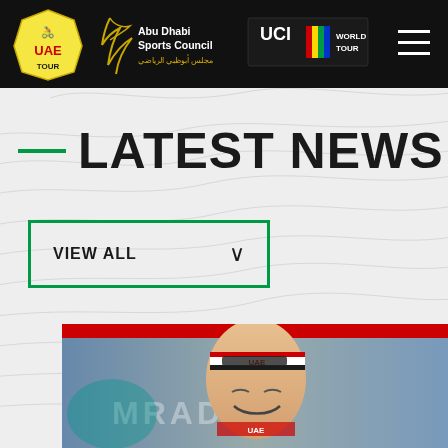[Figure (logo): UAE Tour website header with UAE Tour logo, Abu Dhabi Sports Council logo, UCI World Tour logo, and hamburger menu on black background]
LATEST NEWS
VIEW ALL
[Figure (photo): Cyclist wearing UAE team headband smiling at the camera against a blurred stadium/event background with partial text MRADA visible]